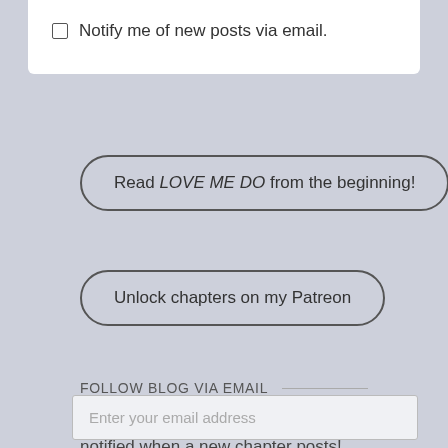Notify me of new posts via email.
Read LOVE ME DO from the beginning!
Unlock chapters on my Patreon
FOLLOW BLOG VIA EMAIL
Enter your email address below to be notified when a new chapter posts!
Enter your email address